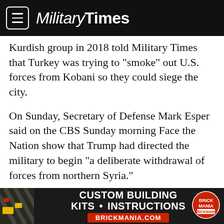Military Times
Kurdish group in 2018 told Military Times that Turkey was trying to “smoke” out U.S. forces from Kobani so they could siege the city.
On Sunday, Secretary of Defense Mark Esper said on the CBS Sunday morning Face the Nation show that Trump had directed the military to begin “a deliberate withdrawal of forces from northern Syria.”
About 1,000 U.S. troops were in northern Syria prior to Esper’s remarks on CBS.
NPR reported that the…
[Figure (screenshot): Advertisement banner for Brickmania.com: CUSTOM BUILDING KITS • INSTRUCTIONS with red BRICKMANIA.COM text and logo on dark background]